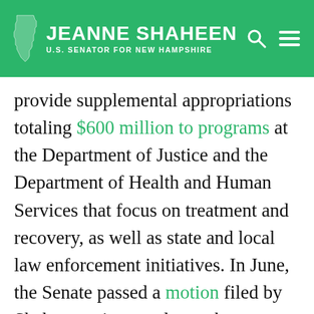JEANNE SHAHEEN — U.S. SENATOR FOR NEW HAMPSHIRE
provide supplemental appropriations totaling $600 million to programs at the Department of Justice and the Department of Health and Human Services that focus on treatment and recovery, as well as state and local law enforcement initiatives. In June, the Senate passed a motion filed by Shaheen to instruct lawmakers reconciling the House and Senate